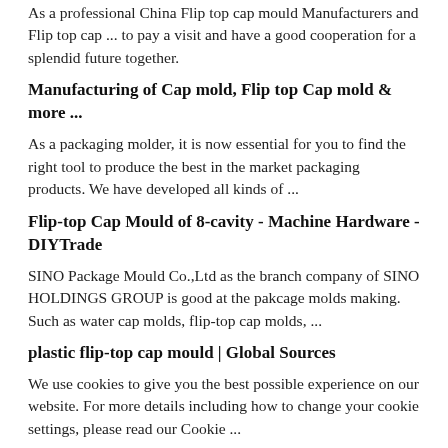As a professional China Flip top cap mould Manufacturers and Flip top cap ... to pay a visit and have a good cooperation for a splendid future together.
Manufacturing of Cap mold, Flip top Cap mold & more ...
As a packaging molder, it is now essential for you to find the right tool to produce the best in the market packaging products. We have developed all kinds of ...
Flip-top Cap Mould of 8-cavity - Machine Hardware - DIYTrade
SINO Package Mould Co.,Ltd as the branch company of SINO HOLDINGS GROUP is good at the pakcage molds making. Such as water cap molds, flip-top cap molds, ...
plastic flip-top cap mould | Global Sources
We use cookies to give you the best possible experience on our website. For more details including how to change your cookie settings, please read our Cookie ...